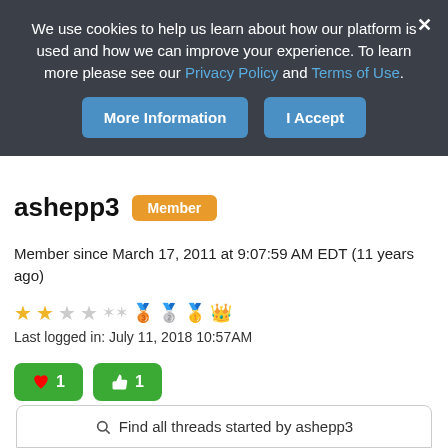We use cookies to help us learn about how our platform is used and how we can improve your experience. To learn more please see our Privacy Policy and Terms of Use.
More Information | I Accept
ashepp3 Member
Member since March 17, 2011 at 9:07:59 AM EDT (11 years ago)
[Figure (other): Star rating icons: 2 gold stars, 2 grey stars, 2 faded badge icons, 3 medal/trophy icons]
Last logged in: July 11, 2018 10:57AM
[Figure (other): Green heart reaction button with count 1 and green thumbs-up reaction button with count 1]
Find all threads started by ashepp3